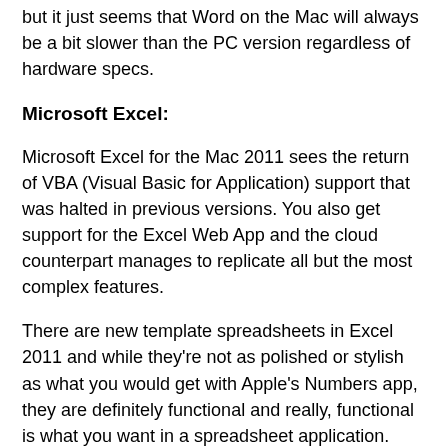but it just seems that Word on the Mac will always be a bit slower than the PC version regardless of hardware specs.
Microsoft Excel:
Microsoft Excel for the Mac 2011 sees the return of VBA (Visual Basic for Application) support that was halted in previous versions. You also get support for the Excel Web App and the cloud counterpart manages to replicate all but the most complex features.
There are new template spreadsheets in Excel 2011 and while they're not as polished or stylish as what you would get with Apple's Numbers app, they are definitely functional and really, functional is what you want in a spreadsheet application.
Excel 2011 is really fast and general performance is superb and the addition of VBA and Macro capabilities are features that will